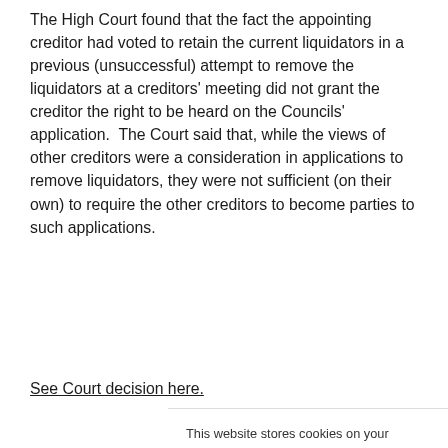The High Court found that the fact the appointing creditor had voted to retain the current liquidators in a previous (unsuccessful) attempt to remove the liquidators at a creditors' meeting did not grant the creditor the right to be heard on the Councils' application.  The Court said that, while the views of other creditors were a consideration in applications to remove liquidators, they were not sufficient (on their own) to require the other creditors to become parties to such applications.
See Court decision here.
This website stores cookies on your computer. These cookies are used to collect information about how you interact with our website and allow us to remember you. We use this information in order to improve and customize your browsing experience and for analytics and metrics about our visitors both on this website and when they interact with other media from us (including email, social media and landing pages). To find out more about the cookies we use, see our Privacy Policy.
Accept